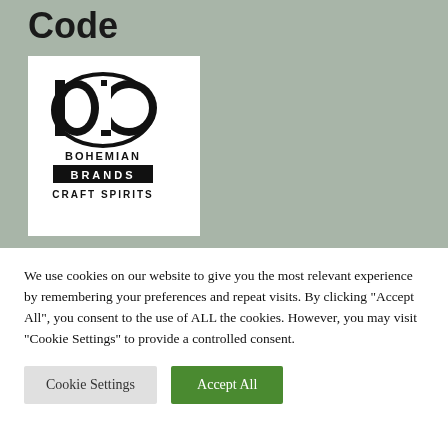Code
[Figure (logo): Bohemian Brands Craft Spirits logo — stylized BB lettermark with BOHEMIAN BRANDS CRAFT SPIRITS text]
We use cookies on our website to give you the most relevant experience by remembering your preferences and repeat visits. By clicking "Accept All", you consent to the use of ALL the cookies. However, you may visit "Cookie Settings" to provide a controlled consent.